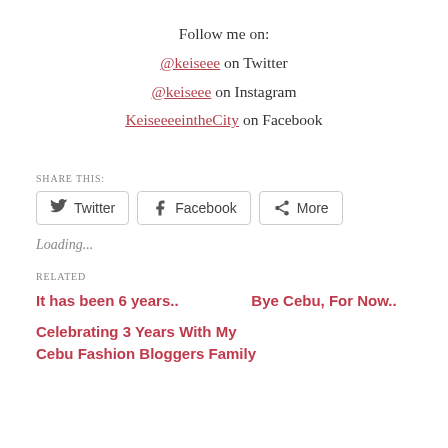Follow me on:
@keiseee on Twitter
@keiseee on Instagram
KeiseeeeintheCity on Facebook
SHARE THIS:
[Figure (other): Share buttons: Twitter, Facebook, More]
Loading...
RELATED
It has been 6 years..
Bye Cebu, For Now..
Celebrating 3 Years With My Cebu Fashion Bloggers Family